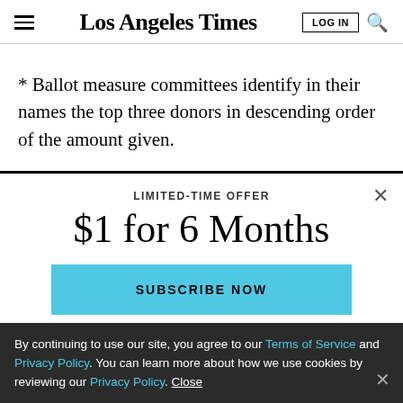Los Angeles Times
* Ballot measure committees identify in their names the top three donors in descending order of the amount given.
LIMITED-TIME OFFER
$1 for 6 Months
SUBSCRIBE NOW
By continuing to use our site, you agree to our Terms of Service and Privacy Policy. You can learn more about how we use cookies by reviewing our Privacy Policy. Close